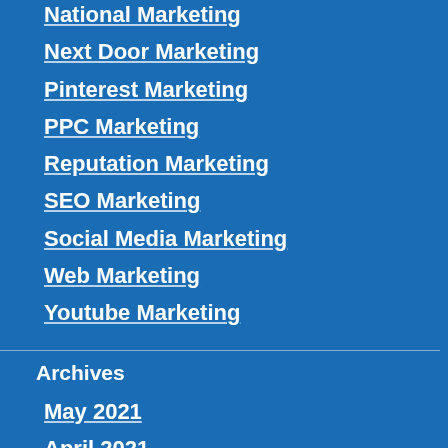National Marketing
Next Door Marketing
Pinterest Marketing
PPC Marketing
Reputation Marketing
SEO Marketing
Social Media Marketing
Web Marketing
Youtube Marketing
Archives
May 2021
April 2021